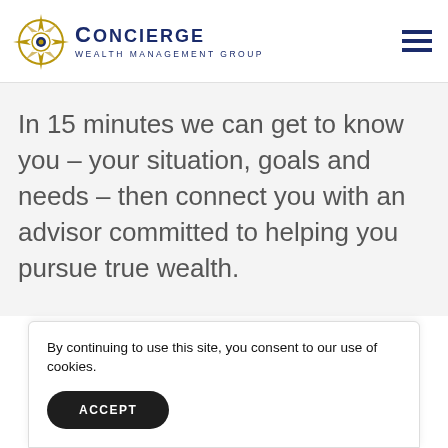[Figure (logo): Concierge Wealth Management Group logo with compass rose icon in gold/navy and text in navy blue]
In 15 minutes we can get to know you – your situation, goals and needs – then connect you with an advisor committed to helping you pursue true wealth.
By continuing to use this site, you consent to our use of cookies.